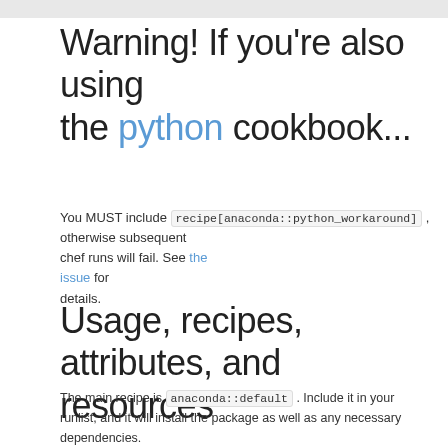Warning! If you're also using the python cookbook...
You MUST include recipe[anaconda::python_workaround] , otherwise subsequent chef runs will fail. See the issue for details.
Usage, recipes, attributes, and resources
The main recipe is anaconda::default . Include it in your runlist, and it will install the package as well as any necessary dependencies.
The following are user-configurable attributes. Check [attributes/default.rb](attributes/default.rb) for more details.